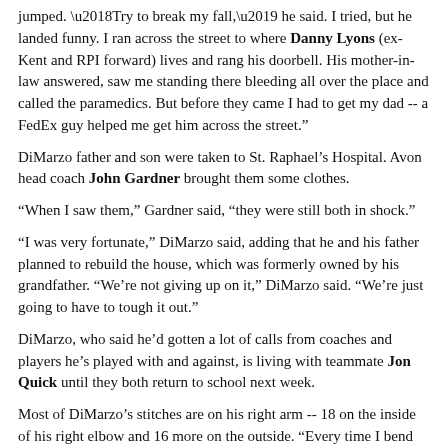jumped. ‘Try to break my fall,’ he said. I tried, but he landed funny. I ran across the street to where Danny Lyons (ex-Kent and RPI forward) lives and rang his doorbell. His mother-in-law answered, saw me standing there bleeding all over the place and called the paramedics. But before they came I had to get my dad -- a FedEx guy helped me get him across the street.”
DiMarzo father and son were taken to St. Raphael’s Hospital. Avon head coach John Gardner brought them some clothes.
“When I saw them,” Gardner said, “they were still both in shock.”
“I was very fortunate,” DiMarzo said, adding that he and his father planned to rebuild the house, which was formerly owned by his grandfather. “We’re not giving up on it,” DiMarzo said. “We’re just going to have to tough it out.”
DiMarzo, who said he’d gotten a lot of calls from coaches and players he’s played with and against, is living with teammate Jon Quick until they both return to school next week.
Most of DiMarzo’s stitches are on his right arm -- 18 on the inside of his right elbow and 16 more on the outside. “Every time I bend my elbow it opens the stitches again. That’s my top hand, too.”